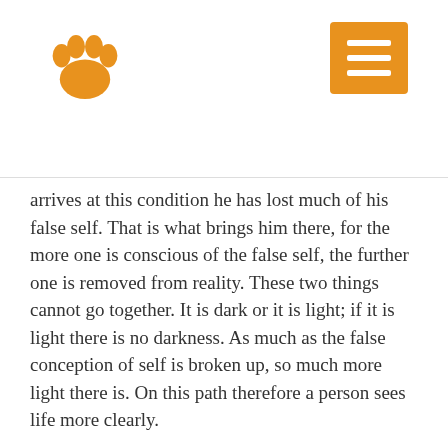[paw logo] [menu button]
arrives at this condition he has lost much of his false self. That is what brings him there, for the more one is conscious of the false self, the further one is removed from reality. These two things cannot go together. It is dark or it is light; if it is light there is no darkness. As much as the false conception of self is broken up, so much more light there is. On this path therefore a person sees life more clearly.
Another form of awakening is the awakening of the self; one begins to wonder, “What does my thought mean, what does my feeling mean, what does wrong and what does right mean? What is it after all?” A man then begins to weigh and measure all that springs within himself. The further he goes the more he sees behind all things, not only living on the surface of life, but attached to all planes of existence. This